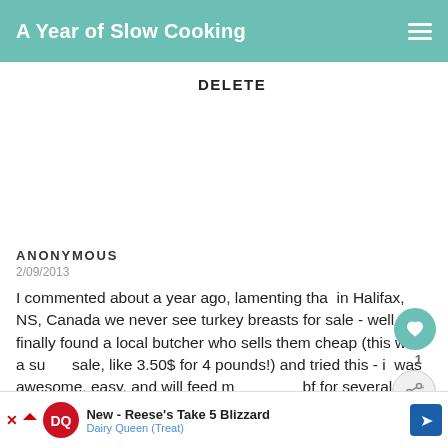A Year of Slow Cooking
DELETE
ANONYMOUS
2/09/2013
I commented about a year ago, lamenting that in Halifax, NS, Canada we never see turkey breasts for sale - well I finally found a local butcher who sells them cheap (this was a super sale, like 3.50$ for 4 pounds!) and tried this - it was awesome, easy, and will feed me and my bf for several days in various ways. Thanks for this great, cheap, tasty, meat (I used broth with lemon juice as my budget doesn't stretch to buying wine or chicken broth stuff!) Thanks -
WHAT'S NEXT → CrockPot Whole Turke...
New - Reese's Take 5 Blizzard
Dairy Queen (Treat)